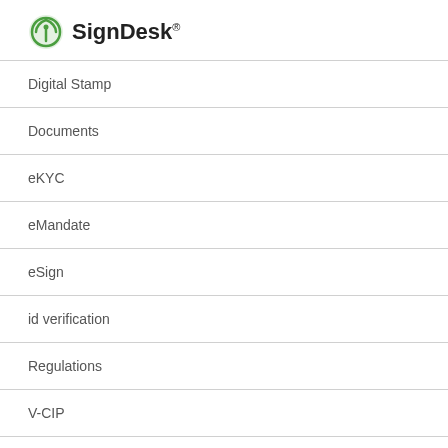SignDesk®
Digital Stamp
Documents
eKYC
eMandate
eSign
id verification
Regulations
V-CIP
Video KYC